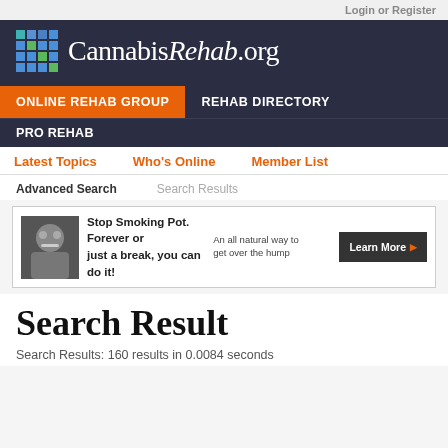Login or Register
[Figure (logo): CannabisRehab.org logo with grid icon on dark navy background]
ONLINE REHAB GROUP
REHAB DIRECTORY
PRO REHAB
Latest Topics   Who's Online   Member List
Advanced Search   Search Results
[Figure (screenshot): Advertisement banner: Stop Smoking Pot. Forever or just a break, you can do it! An all natural way to get over the hump. Learn More button.]
Search Result
Search Results: 160 results in 0.0084 seconds